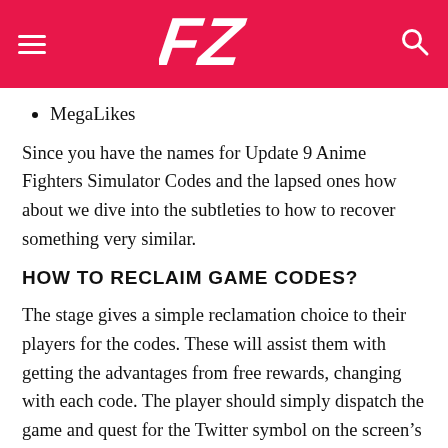FZ (logo)
MegaLikes
Since you have the names for Update 9 Anime Fighters Simulator Codes and the lapsed ones how about we dive into the subtleties to how to recover something very similar.
HOW TO RECLAIM GAME CODES?
The stage gives a simple reclamation choice to their players for the codes. These will assist them with getting the advantages from free rewards, changing with each code. The player should simply dispatch the game and quest for the Twitter symbol on the screen’s left corner.
This will open another screen where there will be a clear tab for coupon names. In this way, you should simply enter the name for dynamic Update 9 Anime Fighters Simulator